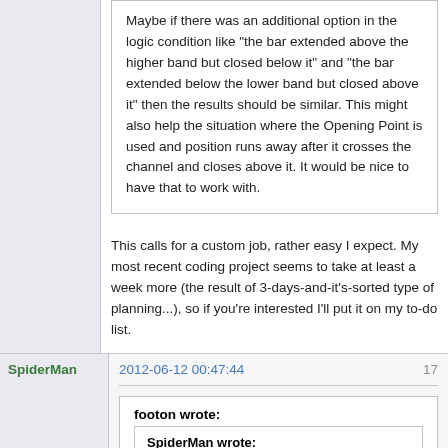Maybe if there was an additional option in the logic condition like "the bar extended above the higher band but closed below it" and "the bar extended below the lower band but closed above it" then the results should be similar. This might also help the situation where the Opening Point is used and position runs away after it crosses the channel and closes above it. It would be nice to have that to work with.
This calls for a custom job, rather easy I expect. My most recent coding project seems to take at least a week more (the result of 3-days-and-it's-sorted type of planning...), so if you're interested I'll put it on my to-do list.
SpiderMan
2012-06-12 00:47:44
17
footon wrote:
SpiderMan wrote: